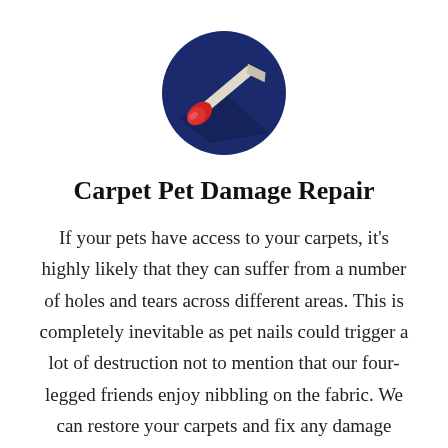[Figure (logo): Dark navy blue circle icon with a red-handled screwdriver/awl tool pointing diagonally from upper-right to lower-left with a shadow effect inside the circle.]
Carpet Pet Damage Repair
If your pets have access to your carpets, it’s highly likely that they can suffer from a number of holes and tears across different areas. This is completely inevitable as pet nails could trigger a lot of destruction not to mention that our four-legged friends enjoy nibbling on the fabric. We can restore your carpets and fix any damage caused